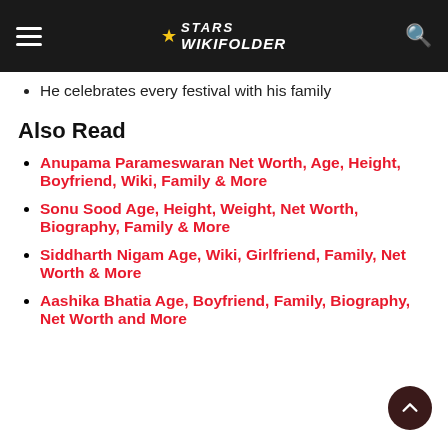Stars Wikifolder
He celebrates every festival with his family
Also Read
Anupama Parameswaran Net Worth, Age, Height, Boyfriend, Wiki, Family & More
Sonu Sood Age, Height, Weight, Net Worth, Biography, Family & More
Siddharth Nigam Age, Wiki, Girlfriend, Family, Net Worth & More
Aashika Bhatia Age, Boyfriend, Family, Biography, Net Worth and More